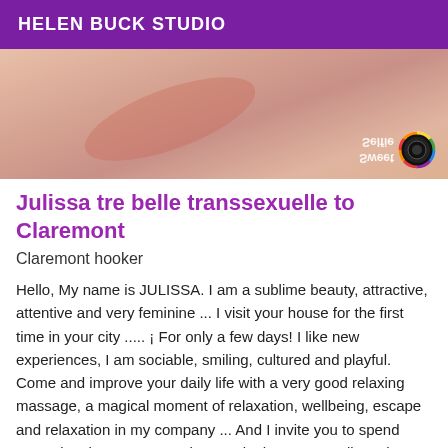HELEN BUCK STUDIO
[Figure (photo): Close-up photo with skin tones and colorful elements, watermark text 'Sweet Selfie' mirrored vertically with a colorful lens/camera icon]
Julissa tre belle transsexuelle to Claremont
Claremont hooker
Hello, My name is JULISSA. I am a sublime beauty, attractive, attentive and very feminine ... I visit your house for the first time in your city ..... ¡ For only a few days! I like new experiences, I am sociable, smiling, cultured and playful. Come and improve your daily life with a very good relaxing massage, a magical moment of relaxation, wellbeing, escape and relaxation in my company ... And I invite you to spend exceptional moments, exchanges in the greatest discretion and